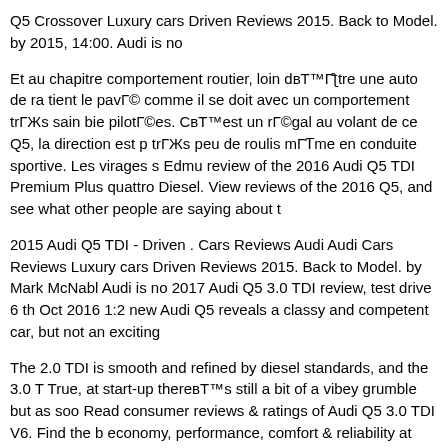Q5 Crossover Luxury cars Driven Reviews 2015. Back to Model. by 2015, 14:00. Audi is no
Et au chapitre comportement routier, loin dвЂ™Гєtre une auto de ra tient le pavГ© comme il se doit avec un comportement trГЁs sain bie pilotГ©es. СвЂ™est un rГ©gal au volant de ce Q5, la direction est p trГЁs peu de roulis mГЄme en conduite sportive. Les virages s Edmu review of the 2016 Audi Q5 TDI Premium Plus quattro Diesel. View reviews of the 2016 Q5, and see what other people are saying about t
2015 Audi Q5 TDI - Driven . Cars Reviews Audi Audi Cars Reviews Luxury cars Driven Reviews 2015. Back to Model. by Mark McNabl Audi is no 2017 Audi Q5 3.0 TDI review, test drive 6 th Oct 2016 1:2 new Audi Q5 reveals a classy and competent car, but not an exciting
The 2.0 TDI is smooth and refined by diesel standards, and the 3.0 T True, at start-up thereвЂ™s still a bit of a vibey grumble but as soo Read consumer reviews & ratings of Audi Q5 3.0 TDI V6. Find the b economy, performance, comfort & reliability at Review Centre